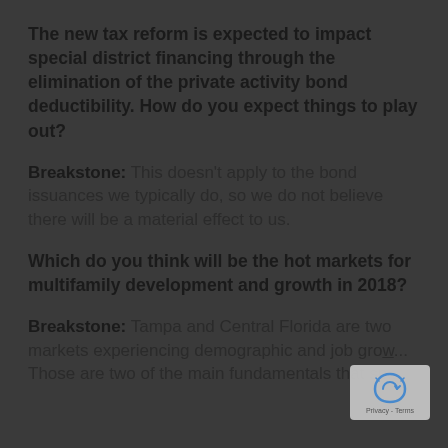The new tax reform is expected to impact special district financing through the elimination of the private activity bond deductibility. How do you expect things to play out?
Breakstone: This doesn’t apply to the bond issuances we typically do, so we do not believe there will be a material effect to us.
Which do you think will be the hot markets for multifamily development and growth in 2018?
Breakstone: Tampa and Central Florida are two markets experiencing demographic and job growth. Those are two of the main fundamentals that sp…